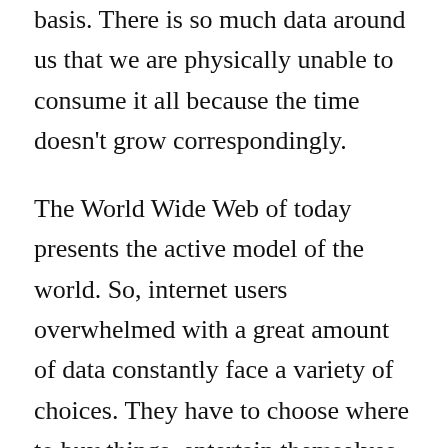basis. There is so much data around us that we are physically unable to consume it all because the time doesn't grow correspondingly.
The World Wide Web of today presents the active model of the world. So, internet users overwhelmed with a great amount of data constantly face a variety of choices. They have to choose where to buy things, entertain themselves, communicate, study and do business. In terms of growing competition with more and more well-known and brand new websites, the role of recognizability and memorability of a digital product grows as well.